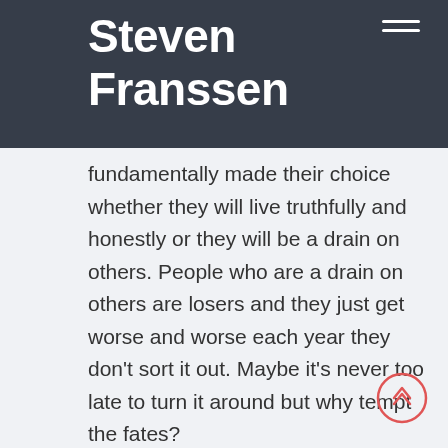Steven Franssen
fundamentally made their choice whether they will live truthfully and honestly or they will be a drain on others. People who are a drain on others are losers and they just get worse and worse each year they don't sort it out. Maybe it's never too late to turn it around but why tempt the fates?
Here are five ways to keep from ending up a loser in your 30's:
1. Be honest
Nothing hangs worse on a person